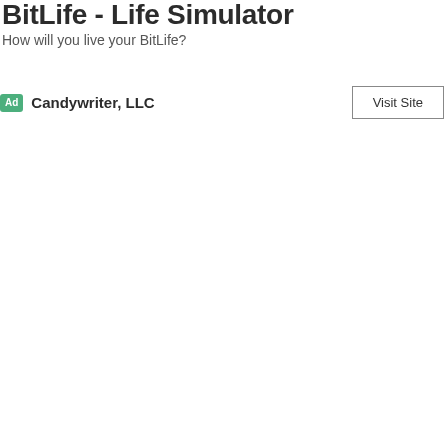BitLife - Life Simulator
How will you live your BitLife?
Ad  Candywriter, LLC
[Figure (other): Visit Site button — a rectangular bordered button with text 'Visit Site']